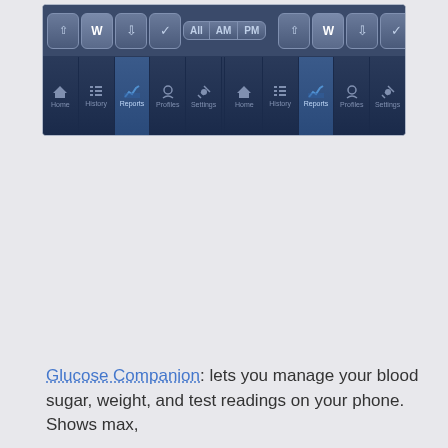[Figure (screenshot): Screenshot of a mobile app (Glucose Companion) showing two side-by-side panels, each with filter buttons (All, AM, PM) and icon buttons at top, and a navigation bar at bottom with tabs: Home, History, Reports (active/highlighted), Profiles, Settings.]
Glucose Companion: lets you manage your blood sugar, weight, and test readings on your phone. Shows max,